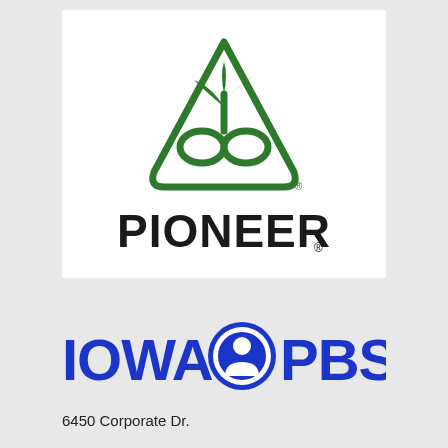[Figure (logo): Pioneer brand logo: green triangular shape with seed/plant motif inside, with the word PIONEER in bold black text below, and a registered trademark symbol.]
[Figure (logo): Iowa PBS logo: the text IOWA PBS in bold blue letters with a PBS circular head icon between IOWA and PBS.]
6450 Corporate Dr.